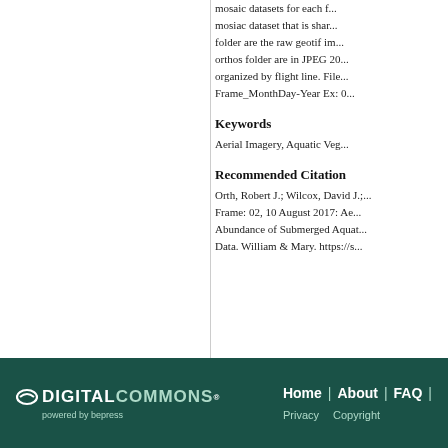mosaic datasets for each f... mosiac dataset that is shar... folder are the raw geotif im... orthos folder are in JPEG 20... organized by flight line. File... Frame_MonthDay-Year Ex: 0...
Keywords
Aerial Imagery, Aquatic Veg...
Recommended Citation
Orth, Robert J.; Wilcox, David J.;... Frame: 02, 10 August 2017: Ae... Abundance of Submerged Aquat... Data. William & Mary. https://s...
Home | About | FAQ | Privacy Copyright